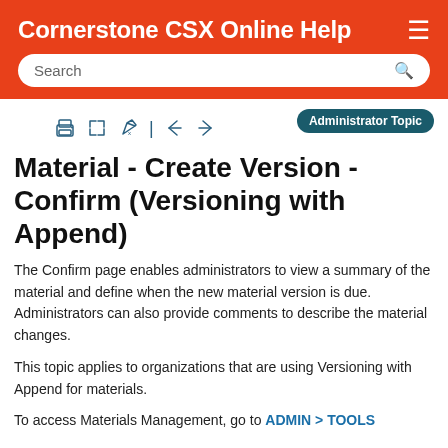Cornerstone CSX Online Help
Material - Create Version - Confirm (Versioning with Append)
The Confirm page enables administrators to view a summary of the material and define when the new material version is due. Administrators can also provide comments to describe the material changes.
This topic applies to organizations that are using Versioning with Append for materials.
To access Materials Management, go to ADMIN > TOOLS